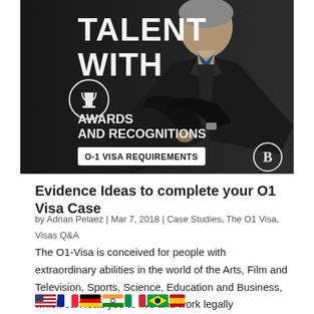[Figure (illustration): Promotional image showing a man in a black suit with arms crossed on a dark background. Text on image reads 'TALENT WITH', a trophy icon, 'AWARDS AND RECOGNITIONS', and 'O-1 VISA REQUIREMENTS' in a white box. A 'B' logo appears in bottom right corner.]
Evidence Ideas to complete your O1 Visa Case
by Adrian Pelaez | Mar 7, 2018 | Case Studies, The O1 Visa, Visas Q&A
The O1-Visa is conceived for people with extraordinary abilities in the world of the Arts, Film and Television, Sports, Science, Education and Business, which can lead you to live and work legally